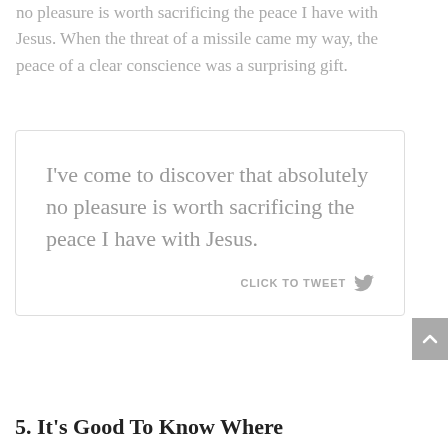no pleasure is worth sacrificing the peace I have with Jesus. When the threat of a missile came my way, the peace of a clear conscience was a surprising gift.
[Figure (infographic): Quote box with border containing the text: I've come to discover that absolutely no pleasure is worth sacrificing the peace I have with Jesus. With a CLICK TO TWEET Twitter button at the bottom.]
5. It's Good To Know Where